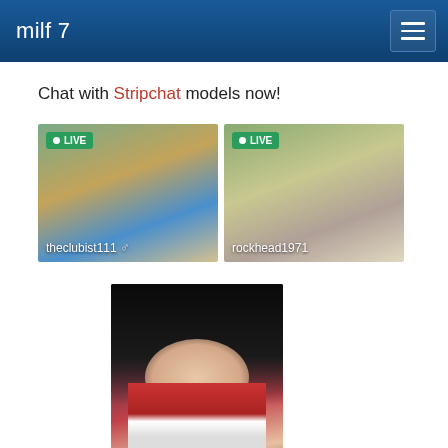milf 7
Chat with Stripchat models now!
[Figure (photo): Two live webcam thumbnails side by side. Left thumbnail shows outdoor scene with username 'theclubist111' and LIVE badge. Right thumbnail shows indoor scene with username 'rockhead1971' and LIVE badge.]
[Figure (photo): Single thumbnail showing a young woman with black hair wearing a red bikini top, holding a phone, with mouth open.]